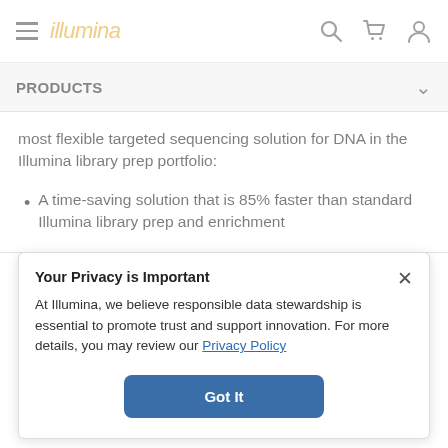illumina — navigation bar with hamburger menu, search, cart, and user icons
PRODUCTS
most flexible targeted sequencing solution for DNA in the Illumina library prep portfolio:
A time-saving solution that is 85% faster than standard Illumina library prep and enrichment
Your Privacy is Important
At Illumina, we believe responsible data stewardship is essential to promote trust and support innovation. For more details, you may review our Privacy Policy
Got It